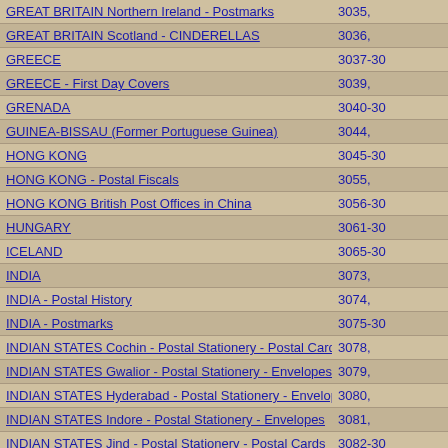| Entry | Lot Numbers |
| --- | --- |
| GREAT BRITAIN Northern Ireland - Postmarks | 3035, |
| GREAT BRITAIN Scotland - CINDERELLAS | 3036, |
| GREECE | 3037-3... |
| GREECE - First Day Covers | 3039, |
| GRENADA | 3040-3... |
| GUINEA-BISSAU (Former Portuguese Guinea) | 3044, |
| HONG KONG | 3045-3... |
| HONG KONG - Postal Fiscals | 3055, |
| HONG KONG British Post Offices in China | 3056-3... |
| HUNGARY | 3061-3... |
| ICELAND | 3065-3... |
| INDIA | 3073, |
| INDIA - Postal History | 3074, |
| INDIA - Postmarks | 3075-3... |
| INDIAN STATES Cochin - Postal Stationery - Postal Cards | 3078, |
| INDIAN STATES Gwalior - Postal Stationery - Envelopes | 3079, |
| INDIAN STATES Hyderabad - Postal Stationery - Envelopes | 3080, |
| INDIAN STATES Indore - Postal Stationery - Envelopes | 3081, |
| INDIAN STATES Jind - Postal Stationery - Postal Cards | 3082-3... |
| IRAQ - Postage Dues | 3084, |
| IRELAND | 3085, |
| IRELAND - Postage Dues | 3086, |
| IRELAND - Postal Stationery - Letter Cards | 3087, |
| ISRAEL | 3088, |